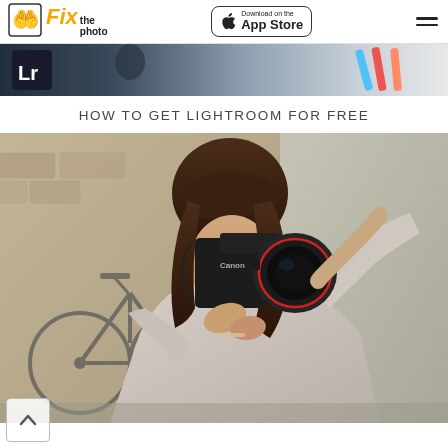Fix the photo | Download on the App Store
[Figure (photo): Partial top image strip showing Lightroom LR icon on dark background with colorful markers/pens on right side]
HOW TO GET LIGHTROOM FOR FREE
[Figure (photo): Woman with brown hair and bangs photographing with a Canon DSLR camera with large lens, outdoors with bicycle and stone wall in background, wearing light grey sweater]